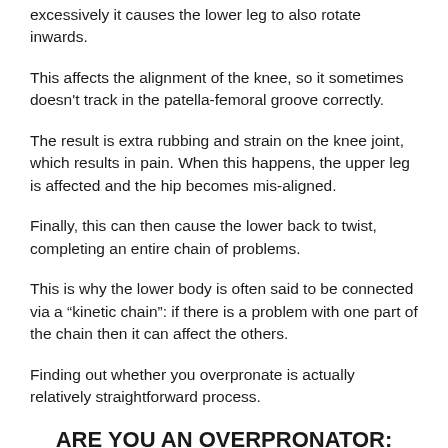excessively it causes the lower leg to also rotate inwards.
This affects the alignment of the knee, so it sometimes doesn't track in the patella-femoral groove correctly.
The result is extra rubbing and strain on the knee joint, which results in pain. When this happens, the upper leg is affected and the hip becomes mis-aligned.
Finally, this can then cause the lower back to twist, completing an entire chain of problems.
This is why the lower body is often said to be connected via a “kinetic chain”: if there is a problem with one part of the chain then it can affect the others.
Finding out whether you overpronate is actually relatively straightforward process.
ARE YOU AN OVERPRONATOR:
The simple check